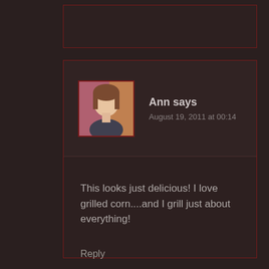[Figure (photo): Truncated previous comment box at top of page]
[Figure (photo): Avatar photo of Ann - woman with brown hair against colorful background]
Ann says
August 19, 2011 at 00:14
This looks just delicious! I love grilled corn....and I grill just about everything!
Reply